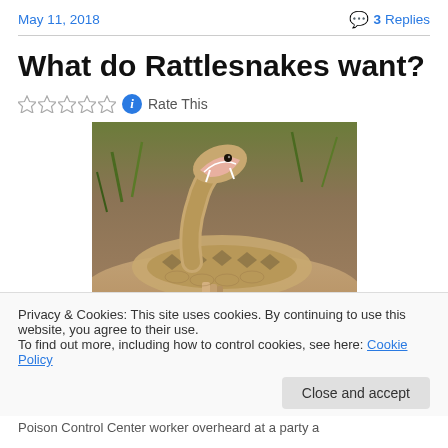May 11, 2018    💬 3 Replies
What do Rattlesnakes want?
☆☆☆☆☆ ℹ Rate This
[Figure (photo): A rattlesnake with its mouth open wide, showing fangs, coiled on sandy/rocky ground with green vegetation in the background.]
Privacy & Cookies: This site uses cookies. By continuing to use this website, you agree to their use.
To find out more, including how to control cookies, see here: Cookie Policy
Close and accept
Poison Control Center worker overheard at a party a